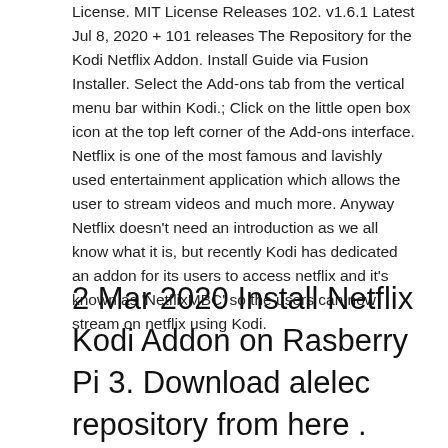License. MIT License Releases 102. v1.6.1 Latest Jul 8, 2020 + 101 releases The Repository for the Kodi Netflix Addon. Install Guide via Fusion Installer. Select the Add-ons tab from the vertical menu bar within Kodi.; Click on the little open box icon at the top left corner of the Add-ons interface. Netflix is one of the most famous and lavishly used entertainment application which allows the user to stream videos and much more. Anyway Netflix doesn't need an introduction as we all know what it is, but recently Kodi has dedicated an addon for its users to access netflix and it's known as 'NetflixMBC' so the users can now stream on netflix using Kodi.
2 Mar 2020 Install Netflix Kodi Addon on Rasberry Pi 3. Download alelec repository from here . From Kodi home screen, go to System>Settings; Click